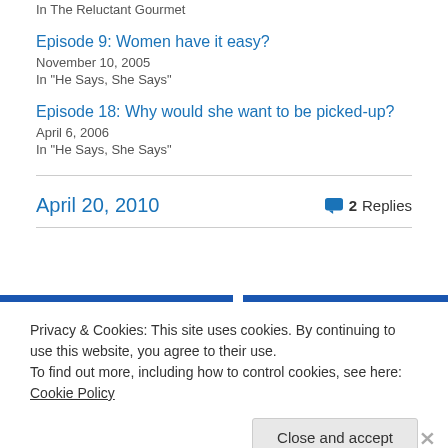In  The Reluctant Gourmet
Episode 9: Women have it easy?
November 10, 2005
In "He Says, She Says"
Episode 18: Why would she want to be picked-up?
April 6, 2006
In "He Says, She Says"
April 20, 2010
2 Replies
Privacy & Cookies: This site uses cookies. By continuing to use this website, you agree to their use.
To find out more, including how to control cookies, see here: Cookie Policy
Close and accept